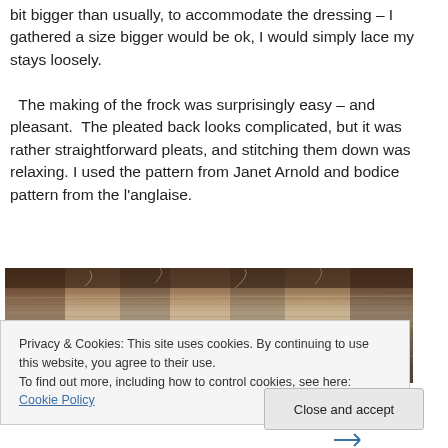bit bigger than usually, to accommodate the dressing – I gathered a size bigger would be ok, I would simply lace my stays loosely.

  The making of the frock was surprisingly easy – and pleasant.  The pleated back looks complicated, but it was rather straightforward pleats, and stitching them down was relaxing. I used the pattern from Janet Arnold and bodice pattern from the l'anglaise.
[Figure (photo): Close-up photograph of fabric pleats and stitching, showing layered textile material in brown, beige, and tan tones with visible threads and texture.]
Privacy & Cookies: This site uses cookies. By continuing to use this website, you agree to their use.
To find out more, including how to control cookies, see here: Cookie Policy
Close and accept